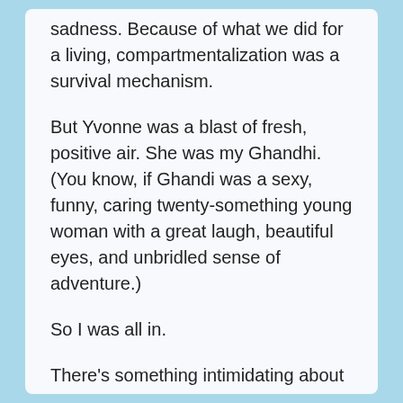sadness. Because of what we did for a living, compartmentalization was a survival mechanism.
But Yvonne was a blast of fresh, positive air. She was my Ghandhi. (You know, if Ghandi was a sexy, funny, caring twenty-something young woman with a great laugh, beautiful eyes, and unbridled sense of adventure.)
So I was all in.
There's something intimidating about being with someone who's doing something meaningful with their lives. It took awhile for me to get over scenarios like this, a common occurence at the end of the day.
And then there was more?